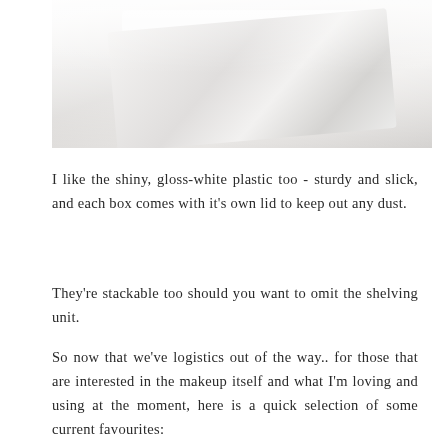[Figure (photo): Close-up photograph of white glossy plastic storage boxes with lids, soft focus, light background]
I like the shiny, gloss-white plastic too - sturdy and slick, and each box comes with it's own lid to keep out any dust.
They're stackable too should you want to omit the shelving unit.
So now that we've logistics out of the way.. for those that are interested in the makeup itself and what I'm loving and using at the moment, here is a quick selection of some current favourites: